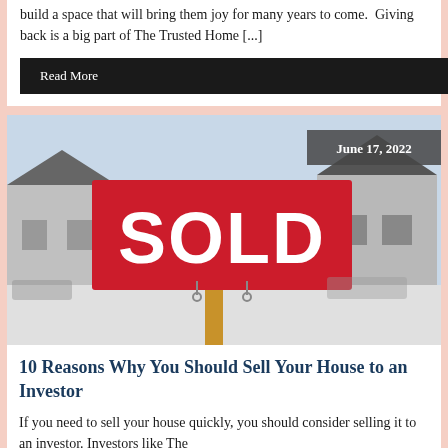build a space that will bring them joy for many years to come.  Giving back is a big part of The Trusted Home [...]
Read More
[Figure (photo): Photo of a red SOLD real estate sign on a wooden post in front of suburban houses, with a date badge reading June 17, 2022 in the top right corner.]
10 Reasons Why You Should Sell Your House to an Investor
If you need to sell your house quickly, you should consider selling it to an investor. Investors like The